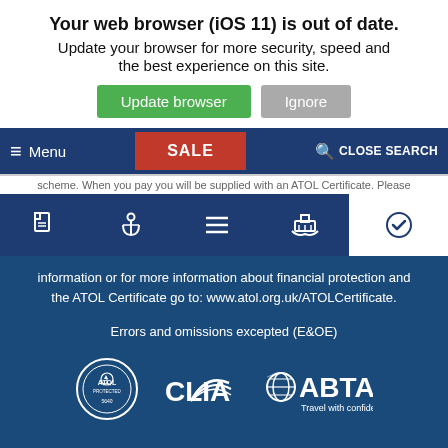Your web browser (iOS 11) is out of date.
Update your browser for more security, speed and the best experience on this site.
[Figure (screenshot): Browser update warning banner with 'Update browser' (green) and 'Ignore' (grey) buttons, followed by a dark blue navigation bar with hamburger Menu, red SALE button, and CLOSE SEARCH option, then an icon bar with document, anchor, lines, ship icons on dark blue background and a checkmark on white background]
information or for more information about financial protection and the ATOL Certificate go to: www.atol.org.uk/ATOLCertificate.
Errors and omissions excepted (E&OE)
[Figure (logo): ATOL Protected circular logo, CLIA logo, and ABTA Travel with confidence logo displayed on dark blue background]